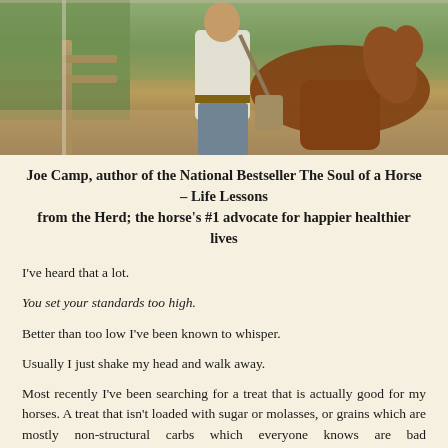[Figure (photo): Outdoor photo of a person in a white shirt standing near a horse by a fence, with green grass and trees in the background.]
Joe Camp, author of the National Bestseller The Soul of a Horse – Life Lessons from the Herd; the horse's #1 advocate for happier healthier lives
I've heard that a lot.
You set your standards too high.
Better than too low I've been known to whisper.
Usually I just shake my head and walk away.
Most recently I've been searching for a treat that is actually good for my horses. A treat that isn't loaded with sugar or molasses, or grains which are mostly non-structural carbs which everyone knows are bad metabolically…